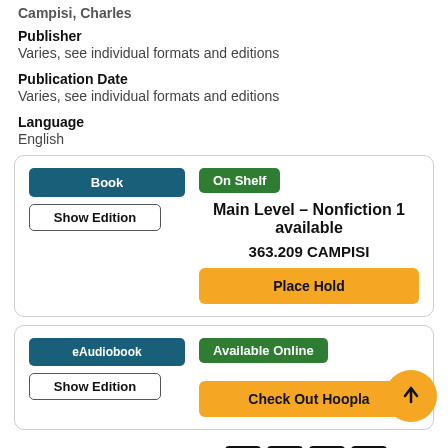Campisi, Charles
Publisher
Varies, see individual formats and editions
Publication Date
Varies, see individual formats and editions
Language
English
| Format | Availability | Location | Action |
| --- | --- | --- | --- |
| Book | On Shelf | Main Level – Nonfiction 1 available
363.209 CAMPISI | Place Hold |
| Format | Availability | Action |
| --- | --- | --- |
| eAudiobook | Available Online | Check Out Hoopla |
Add a Review   Add to list